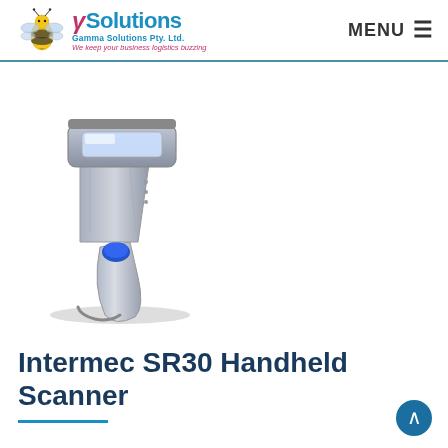Gamma Solutions Pty. Ltd. — We keep your business logistics buzzing | MENU
[Figure (photo): Intermec SR30 handheld barcode scanner — silver and blue gun-style laser scanner on white background with cable visible at base]
Intermec SR30 Handheld Scanner